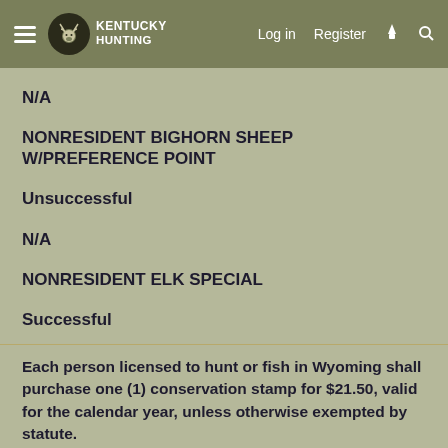KENTUCKY HUNTING | Log in | Register
N/A
NONRESIDENT BIGHORN SHEEP W/PREFERENCE POINT
Unsuccessful
N/A
NONRESIDENT ELK SPECIAL
Successful
111-1
Each person licensed to hunt or fish in Wyoming shall purchase one (1) conservation stamp for $21.50, valid for the calendar year, unless otherwise exempted by statute.